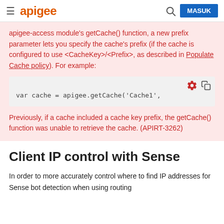apigee | MASUK
apigee-access module's getCache() function, a new prefix parameter lets you specify the cache's prefix (if the cache is configured to use <CacheKey>/<Prefix>, as described in Populate Cache policy). For example:
[Figure (screenshot): Code block showing: var cache = apigee.getCache('Cache1',  with gear and copy icons in top right]
Previously, if a cache included a cache key prefix, the getCache() function was unable to retrieve the cache. (APIRT-3262)
Client IP control with Sense
In order to more accurately control where to find IP addresses for Sense bot detection when using routing